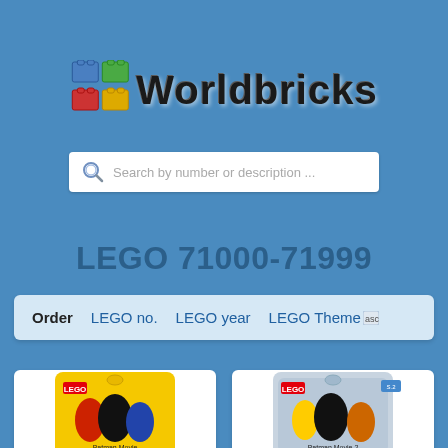[Figure (logo): Worldbricks logo with colorful LEGO brick icon and text 'Worldbricks' in bold dark font]
[Figure (screenshot): Search bar with magnifying glass icon and placeholder text 'Search by number or description ...']
LEGO 71000-71999
Order   LEGO no.   LEGO year   LEGO Theme  asc
[Figure (photo): LEGO Batman Movie Minifigures series product bag - yellow packaging showing Batman characters]
[Figure (photo): LEGO Batman Movie Minifigures series 2 product bag - blue/grey packaging showing Batman characters]